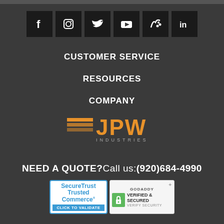[Figure (other): Row of 6 social media icon buttons (Facebook, Instagram, Twitter, YouTube, Blog/RSS, LinkedIn) on dark background]
CUSTOMER SERVICE
RESOURCES
COMPANY
[Figure (logo): JPW Industries logo with orange text and horizontal stripe lines]
NEED A QUOTE? Call us: (920)684-4990
[Figure (other): SecureTrust Trusted Commerce badge and GoDaddy Verified & Secured badge]